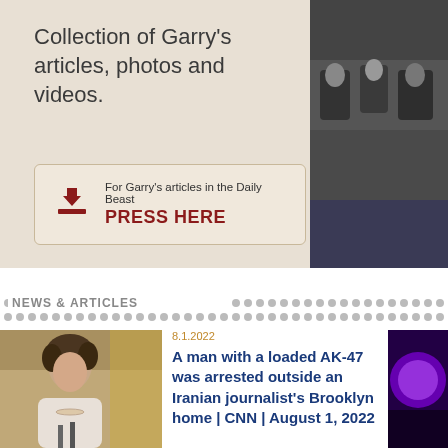Collection of Garry's articles, photos and videos.
[Figure (photo): People seated in an auditorium or hearing room, formal setting]
For Garry's articles in the Daily Beast
PRESS HERE
NEWS & ARTICLES
[Figure (photo): Woman with curly hair speaking at a podium with microphones]
8.1.2022
A man with a loaded AK-47 was arrested outside an Iranian journalist's Brooklyn home | CNN | August 1, 2022
[Figure (photo): Partial image with purple/violet tones on right side]